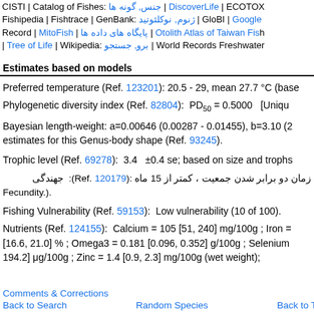CISTI | Catalog of Fishes: جنس, گونه ها | DiscoverLife | ECOTOX | Fishipedia | Fishtrace | GenBank: ژنوم, نوکلئوتید | GloBI | Google Record | MitoFish | پایگاه های داده ها | Otolith Atlas of Taiwan Fishes | Tree of Life | Wikipedia: برو, جستجو | World Records Freshwater
Estimates based on models
Preferred temperature (Ref. 123201): 20.5 - 29, mean 27.7 °C (base...
Phylogenetic diversity index (Ref. 82804):  PD₅₀ = 0.5000   [Unique...
Bayesian length-weight: a=0.00646 (0.00287 - 0.01455), b=3.10 (2... estimates for this Genus-body shape (Ref. 93245).
Trophic level (Ref. 69278):  3.4  ±0.4 se; based on size and trophs...
زمان دو برابر شدن جمعیت ، کمتر از 15 ماه : (Ref. 120179): جهندگی  Fecundity.).
Fishing Vulnerability (Ref. 59153):  Low vulnerability (10 of 100).
Nutrients (Ref. 124155):  Calcium = 105 [51, 240] mg/100g ; Iron = [16.6, 21.0] % ; Omega3 = 0.181 [0.096, 0.352] g/100g ; Selenium = 194.2] μg/100g ; Zinc = 1.4 [0.9, 2.3] mg/100g (wet weight);
Comments & Corrections
Back to Search    Random Species    Back to T